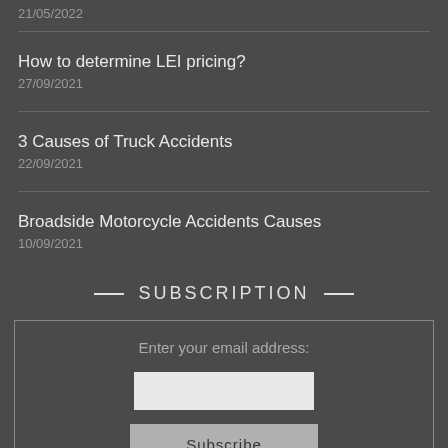21/05/2022
How to determine LEI pricing?
27/09/2021
3 Causes of Truck Accidents
22/09/2021
Broadside Motorcycle Accidents Causes
10/09/2021
— SUBSCRIPTION —
Enter your email address: